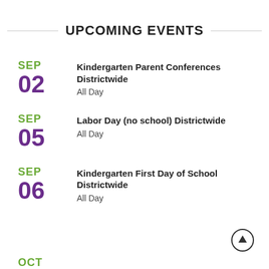UPCOMING EVENTS
SEP 02 — Kindergarten Parent Conferences Districtwide — All Day
SEP 05 — Labor Day (no school) Districtwide — All Day
SEP 06 — Kindergarten First Day of School Districtwide — All Day
OCT
[Figure (other): Scroll-up arrow button circle icon]